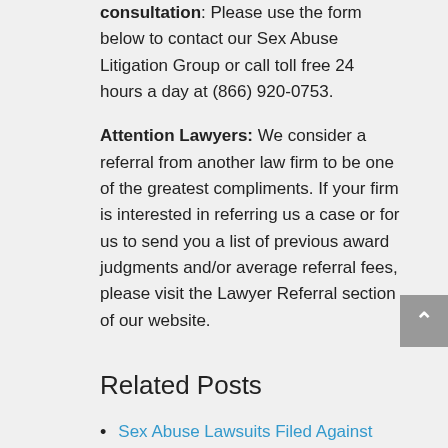consultation: Please use the form below to contact our Sex Abuse Litigation Group or call toll free 24 hours a day at (866) 920-0753.
Attention Lawyers: We consider a referral from another law firm to be one of the greatest compliments. If your firm is interested in referring us a case or for us to send you a list of previous award judgments and/or average referral fees, please visit the Lawyer Referral section of our website.
Related Posts
Sex Abuse Lawsuits Filed Against Southern Baptist Church
Charleston Medical Center Pays $23 Million Sex Abuse Settlement
Boys & Girls Club Sex Abuse Lawsuit